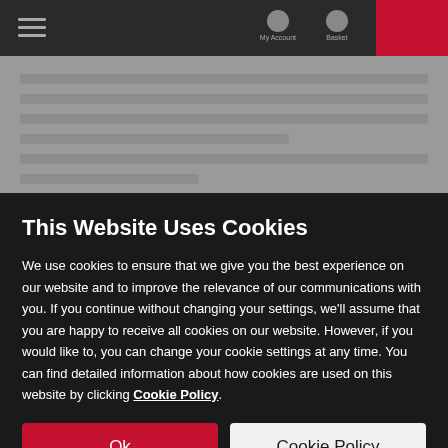[Figure (screenshot): Blurred background showing a dark navigation bar with hamburger menu, icons, and a red box on the right, over a grey blurred website content area]
This Website Uses Cookies
We use cookies to ensure that we give you the best experience on our website and to improve the relevance of our communications with you. If you continue without changing your settings, we'll assume that you are happy to receive all cookies on our website. However, if you would like to, you can change your cookie settings at any time. You can find detailed information about how cookies are used on this website by clicking Cookie Policy.